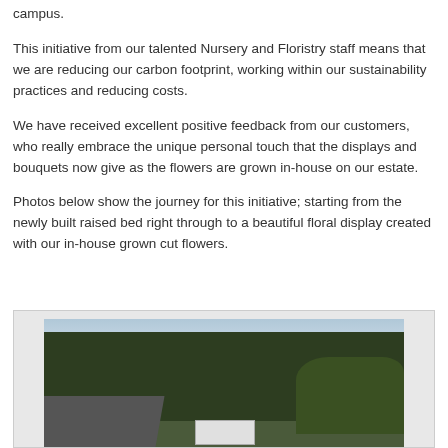campus.
This initiative from our talented Nursery and Floristry staff means that we are reducing our carbon footprint, working within our sustainability practices and reducing costs.
We have received excellent positive feedback from our customers, who really embrace the unique personal touch that the displays and bouquets now give as the flowers are grown in-house on our estate.
Photos below show the journey for this initiative; starting from the newly built raised bed right through to a beautiful floral display created with our in-house grown cut flowers.
[Figure (photo): Outdoor photo showing trees and road on an estate campus, with a white object visible at the bottom center.]